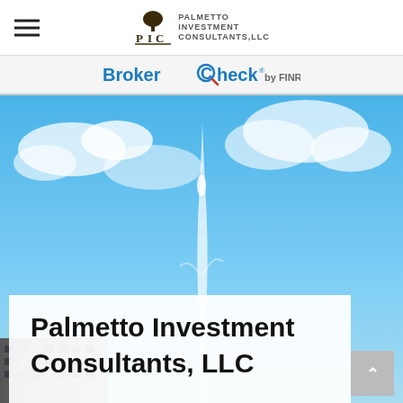[Figure (logo): Palmetto Investment Consultants LLC logo with PIC initials and tree icon]
BrokerCheck by FINRA
[Figure (photo): Outdoor photo of a fountain shooting water into a blue sky with white clouds, with a building visible at the bottom left]
Palmetto Investment Consultants, LLC